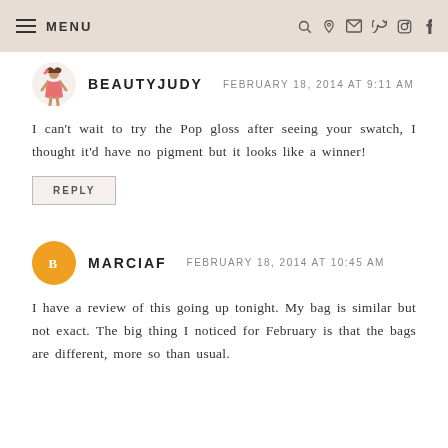MENU
BEAUTYJUDY   FEBRUARY 18, 2014 AT 9:11 AM
I can't wait to try the Pop gloss after seeing your swatch, I thought it'd have no pigment but it looks like a winner!
REPLY
MARCIAF   FEBRUARY 18, 2014 AT 10:45 AM
I have a review of this going up tonight. My bag is similar but not exact. The big thing I noticed for February is that the bags are different, more so than usual.